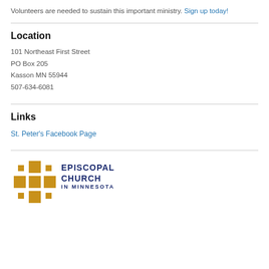Volunteers are needed to sustain this important ministry. Sign up today!
Location
101 Northeast First Street
PO Box 205
Kasson MN 55944
507-634-6081
Links
St. Peter's Facebook Page
[Figure (logo): Episcopal Church in Minnesota logo with golden cross and dark blue text]